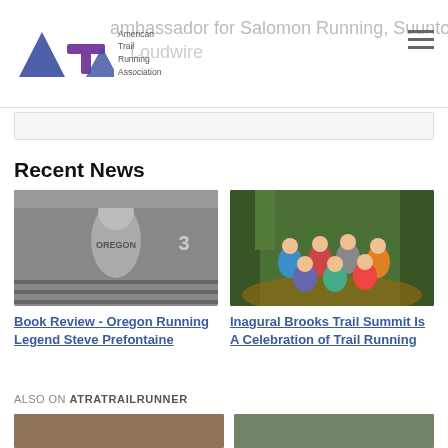American Trail Running Association
ambassador for Salomon Running, Suunto & Loudwire
Recent News
[Figure (photo): Black and white photo of Steve Prefontaine running on a track wearing an Oregon jersey with number 3]
Book Review - Oregon Running Legend Steve Prefontaine
[Figure (photo): Group photo of trail runners posing together on a forest trail, surrounded by green trees]
Inagural Brooks Trail Summit Is A Celebration of Trail Running
ALSO ON ATRATRAILRUNNER
[Figure (photo): Thumbnail image at bottom left]
[Figure (photo): Thumbnail image at bottom right]